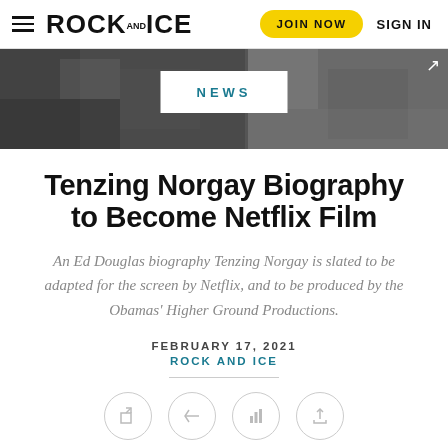ROCK AND ICE — JOIN NOW   SIGN IN
[Figure (photo): Black and white hero image banner split into two sections showing rocky/textured surface, with a white NEWS badge overlay in the center]
NEWS
Tenzing Norgay Biography to Become Netflix Film
An Ed Douglas biography Tenzing Norgay is slated to be adapted for the screen by Netflix, and to be produced by the Obamas' Higher Ground Productions.
FEBRUARY 17, 2021
ROCK AND ICE
[Figure (illustration): Row of four social sharing icon circles (share, arrow, chart/stats, upload)]